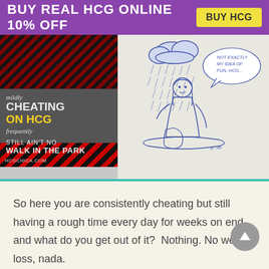BUY REAL HCG ONLINE  10% OFF   BUY HCG
[Figure (illustration): Book cover titled 'mildly CHEATING ON HCG frequently STILL AIN'T NO WALK IN THE PARK' with striped red/black pattern, alongside a hand-drawn sketch of a person sitting in the rain under a cloud with a speech bubble reading 'NOT EXACTLY MY IDEA OF FUN, HCG...']
So here you are consistently cheating but still having a rough time every day for weeks on end and what do you get out of it?  Nothing. No weight loss, nada.